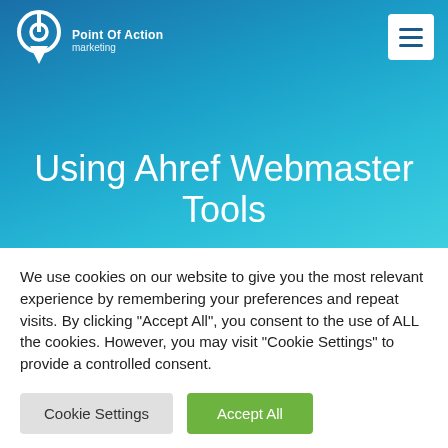[Figure (logo): Point Of Action marketing logo with circular icon and downward arrow, white on blue background]
Using Ahref Webmaster Tools
We use cookies on our website to give you the most relevant experience by remembering your preferences and repeat visits. By clicking "Accept All", you consent to the use of ALL the cookies. However, you may visit "Cookie Settings" to provide a controlled consent.
Cookie Settings | Accept All